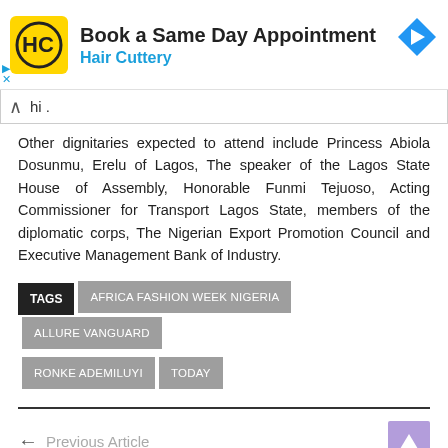[Figure (screenshot): Advertisement banner for Hair Cuttery salon: yellow logo with HC initials, headline 'Book a Same Day Appointment', subtext 'Hair Cuttery', blue diamond arrow icon at right, play and close controls at lower left.]
hi .
Other dignitaries expected to attend include Princess Abiola Dosunmu, Erelu of Lagos, The speaker of the Lagos State House of Assembly, Honorable Funmi Tejuoso, Acting Commissioner for Transport Lagos State, members of the diplomatic corps, The Nigerian Export Promotion Council and Executive Management Bank of Industry.
TAGS  AFRICA FASHION WEEK NIGERIA  ALLURE VANGUARD  RONKE ADEMILUYI  TODAY
← Previous Article